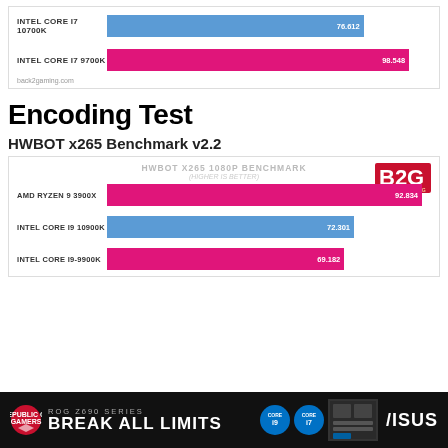[Figure (bar-chart): ]
Encoding Test
HWBOT x265 Benchmark v2.2
[Figure (bar-chart): HWBOT X265 1080P BENCHMARK]
[Figure (infographic): ASUS ROG Z690 Series - Break All Limits advertisement banner with Intel Core badges and ASUS logo]